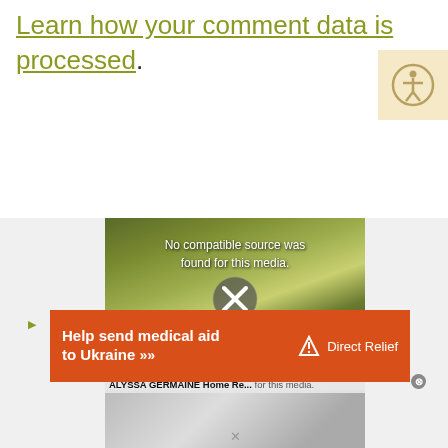Learn how your comment data is processed.
[Figure (screenshot): Video player showing food image with 'No compatible source was found for this media.' message and X close button overlay. Below it shows 'ALYSSA GERMAINE Home Re...' title bar with close button and an orange ad banner 'Help send medical aid to Ukraine >> Direct Relief'.]